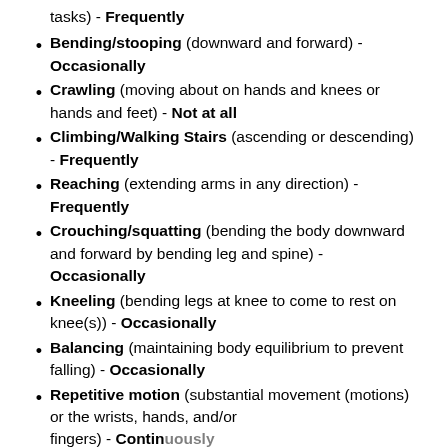tasks) - Frequently
Bending/stooping (downward and forward) - Occasionally
Crawling (moving about on hands and knees or hands and feet) - Not at all
Climbing/Walking Stairs (ascending or descending) - Frequently
Reaching (extending arms in any direction) - Frequently
Crouching/squatting (bending the body downward and forward by bending leg and spine) - Occasionally
Kneeling (bending legs at knee to come to rest on knee(s)) - Occasionally
Balancing (maintaining body equilibrium to prevent falling) - Occasionally
Repetitive motion (substantial movement (motions) or the wrists, hands, and/or fingers) - Continuously